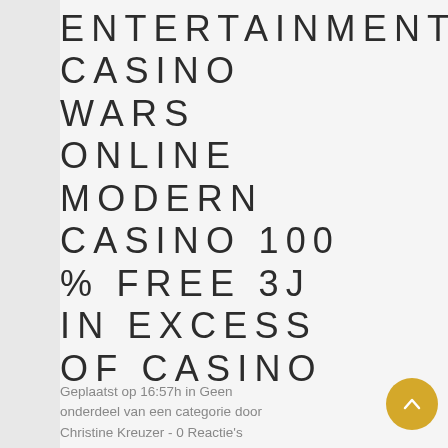ENTERTAINMENT CASINO WARS ONLINE MODERN CASINO 100 % FREE 3J IN EXCESS OF CASINO
Geplaatst op 16:57h in Geen onderdeel van een categorie door Christine Kreuzer - 0 Reactie's